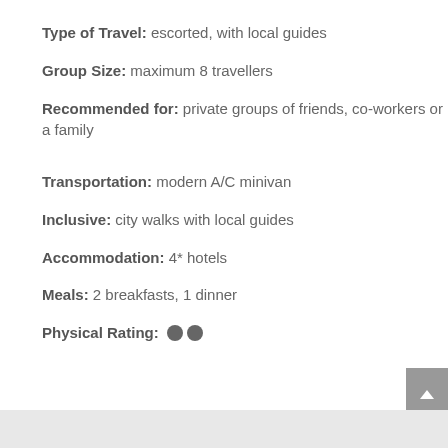Type of Travel: escorted, with local guides
Group Size: maximum 8 travellers
Recommended for: private groups of friends, co-workers or a family
Transportation: modern A/C minivan
Inclusive: city walks with local guides
Accommodation: 4* hotels
Meals: 2 breakfasts, 1 dinner
Physical Rating: ●●